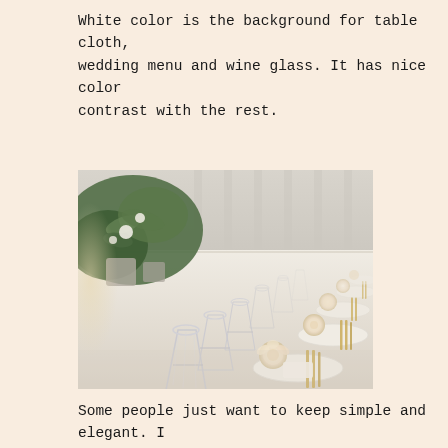White color is the background for table cloth, wedding menu and wine glass. It has nice color contrast with the rest.
[Figure (photo): A beautifully set wedding reception table with white tablecloth, crystal wine glasses, white roses, and gold cutlery arranged in perspective along a long table.]
Some people just want to keep simple and elegant. I think it is important to keep that in mind. Create a wedding, wedding table decoration with style. It is the...